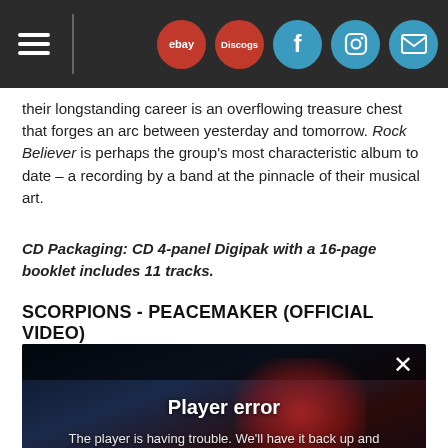ebay | Discogs | Facebook | Instagram | Mail
their longstanding career is an overflowing treasure chest that forges an arc between yesterday and tomorrow. Rock Believer is perhaps the group's most characteristic album to date – a recording by a band at the pinnacle of their musical art.
CD Packaging: CD 4-panel Digipak with a 16-page booklet includes 11 tracks.
SCORPIONS - PEACEMAKER (OFFICIAL VIDEO)
[Figure (screenshot): Embedded video player showing a city night scene with red glow. Player error overlay reads: 'Player error' and 'The player is having trouble. We'll have it back up and running as soon as possible.' A close (X) button appears top right and a scroll-up arrow bottom right.]